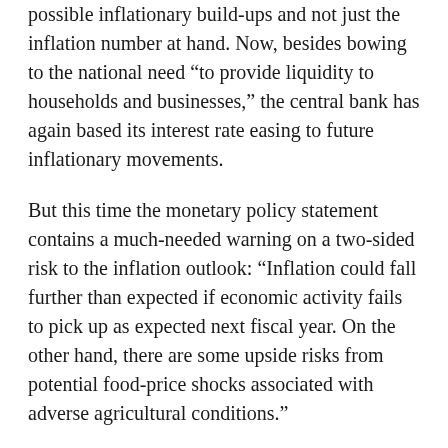possible inflationary build-ups and not just the inflation number at hand. Now, besides bowing to the national need "to provide liquidity to households and businesses," the central bank has again based its interest rate easing to future inflationary movements.
But this time the monetary policy statement contains a much-needed warning on a two-sided risk to the inflation outlook: "Inflation could fall further than expected if economic activity fails to pick up as expected next fiscal year. On the other hand, there are some upside risks from potential food-price shocks associated with adverse agricultural conditions."
With large-scale manufacturing showing a steep decline of 23pc year-on-year in March and with the fate of small industries still hanging in the balance owing to the repeated closure of businesses after the violation of SOPs, agriculture requires greater attention. Agriculture offers hope for lessening the severity of a